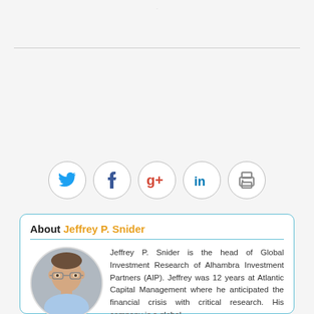[Figure (other): Social sharing icons row: Twitter (blue bird), Facebook (blue f), Google+ (red g+), LinkedIn (dark blue in), Print (grey printer) — each in a circular bordered button]
About Jeffrey P. Snider
[Figure (photo): Circular headshot photo of Jeffrey P. Snider, a man with glasses wearing a light blue shirt, against a light background]
Jeffrey P. Snider is the head of Global Investment Research of Alhambra Investment Partners (AIP). Jeffrey was 12 years at Atlantic Capital Management where he anticipated the financial crisis with critical research. His company is a global